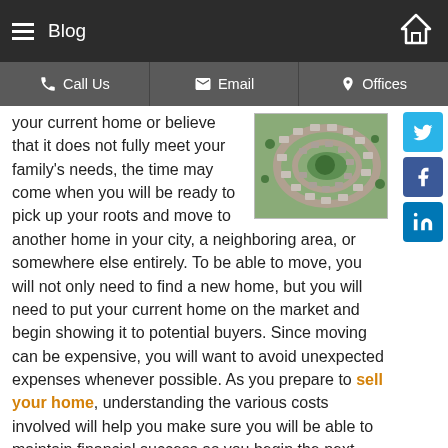Blog
Call Us | Email | Offices
your current home or believe that it does not fully meet your family's needs, the time may come when you will be ready to pick up your roots and move to another home in your city, a neighboring area, or somewhere else entirely. To be able to move, you will not only need to find a new home, but you will need to put your current home on the market and begin showing it to potential buyers. Since moving can be expensive, you will want to avoid unexpected expenses whenever possible. As you prepare to sell your home, understanding the various costs involved will help you make sure you will be able to maintain financial success as you begin the next phase of your life.
[Figure (photo): Aerial view of residential housing development with curved roads and trees]